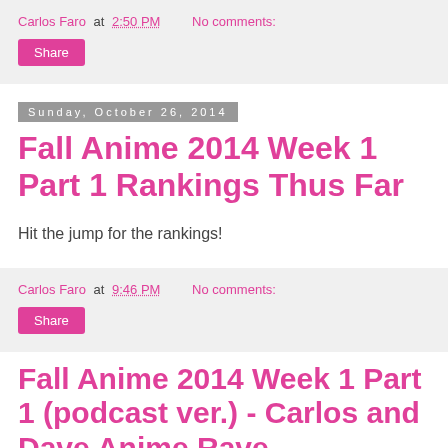Carlos Faro at 2:50 PM   No comments:
Share
Sunday, October 26, 2014
Fall Anime 2014 Week 1 Part 1 Rankings Thus Far
Hit the jump for the rankings!
Carlos Faro at 9:46 PM   No comments:
Share
Fall Anime 2014 Week 1 Part 1 (podcast ver.) - Carlos and Dave Anime Rave
Fall Anime 2014 Week 1 Part 1 (podcast ver.) - Carlos and Dave Anime Rave